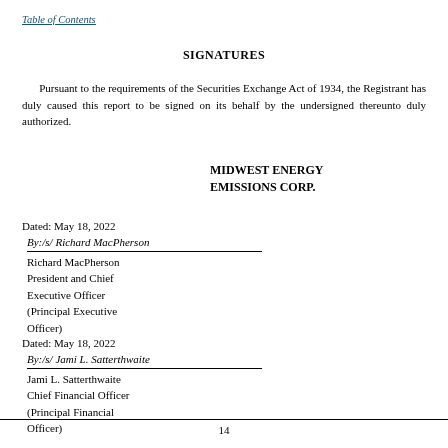Table of Contents
SIGNATURES
Pursuant to the requirements of the Securities Exchange Act of 1934, the Registrant has duly caused this report to be signed on its behalf by the undersigned thereunto duly authorized.
MIDWEST ENERGY EMISSIONS CORP.
Dated: May 18, 2022
By:/s/ Richard MacPherson
Richard MacPherson
President and Chief Executive Officer
(Principal Executive Officer)
Dated: May 18, 2022
By:/s/ Jami L. Satterthwaite
Jami L. Satterthwaite
Chief Financial Officer
(Principal Financial Officer)
14